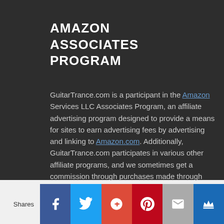AMAZON ASSOCIATES PROGRAM
GuitarTrance.com is a participant in the Amazon Services LLC Associates Program, an affiliate advertising program designed to provide a means for sites to earn advertising fees by advertising and linking to Amazon.com. Additionally, GuitarTrance.com participates in various other affiliate programs, and we sometimes get a commission through purchases made through our
Shares